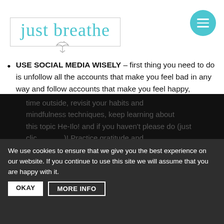[Figure (logo): Just Breathe cursive logo in teal/cyan color inside a rectangular border, with a small hummingbird illustration below]
USE SOCIAL MEDIA WISELY – first thing you need to do is unfollow all the accounts that make you feel bad in any way and follow accounts that make you feel happy, motivated, grateful, inspired. You'll notice a big difference within a couple of days and feel like weight has been lifted off your shoulders. Second thing to do is delete all social media apps when things get too much for you. I don't mean delete forever, but for a few days. Rest you mind, spend
We use cookies to ensure that we give you the best experience on our website. If you continue to use this site we will assume that you are happy with it.
OKAY   MORE INFO